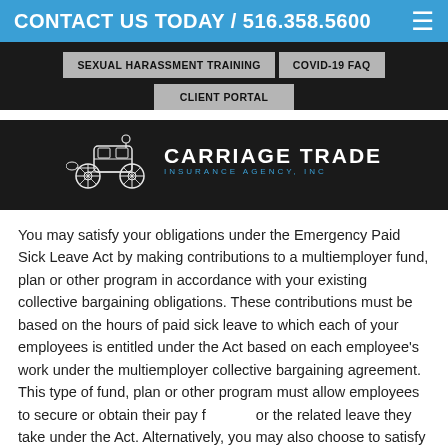CONTACT US TODAY / 516.358.5600
[Figure (screenshot): Navigation bar with buttons: SEXUAL HARASSMENT TRAINING, COVID-19 FAQ, CLIENT PORTAL on dark background]
[Figure (logo): Carriage Trade Insurance Agency, Inc. logo with carriage illustration on dark background]
You may satisfy your obligations under the Emergency Paid Sick Leave Act by making contributions to a multiemployer fund, plan or other program in accordance with your existing collective bargaining obligations. These contributions must be based on the hours of paid sick leave to which each of your employees is entitled under the Act based on each employee's work under the multiemployer collective bargaining agreement. This type of fund, plan or other program must allow employees to secure or obtain their pay for the related leave they take under the Act. Alternatively, you may also choose to satisfy your obligations under the Act by other means, provided they are consistent with your bargaining obligations and collective bargaining agreement